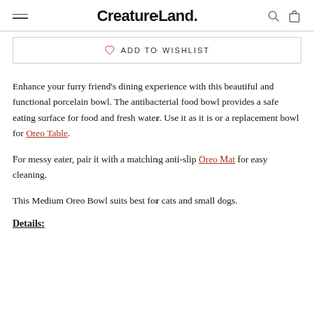CreatureLand.
ADD TO WISHLIST
Enhance your furry friend's dining experience with this beautiful and functional porcelain bowl. The antibacterial food bowl provides a safe eating surface for food and fresh water. Use it as it is or a replacement bowl for Oreo Table.
For messy eater, pair it with a matching anti-slip Oreo Mat for easy cleaning.
This Medium Oreo Bowl suits best for cats and small dogs.
Details: